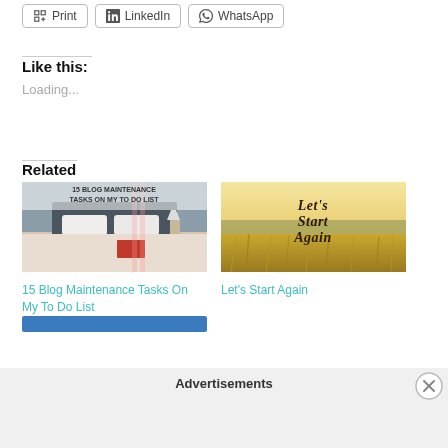[Figure (other): Share buttons row: Print, LinkedIn, WhatsApp]
Like this:
Loading...
Related
[Figure (photo): Bedroom photo with text overlay: 15 BLOG MAINTENANCE TASKS ON MY TO DO LIST]
[Figure (photo): Golden field photo with cursive text: Let's Start Again]
15 Blog Maintenance Tasks On My To Do List
Let's Start Again
Advertisements